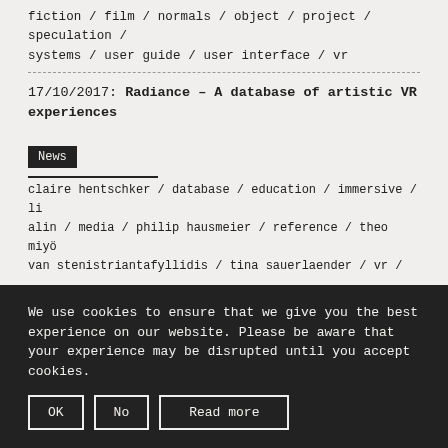fiction / film / normals / object / project / speculation / systems / user guide / user interface / vr
17/10/2017: Radiance – A database of artistic VR experiences
News
claire hentschker / database / education / immersive / li alin / media / philip hausmeier / reference / theo miyö van stenistriantafyllidis / tina sauerlaender / vr /
We use cookies to ensure that we give you the best experience on our website. Please be aware that your experience may be disrupted until you accept cookies.
OK
No
Read more